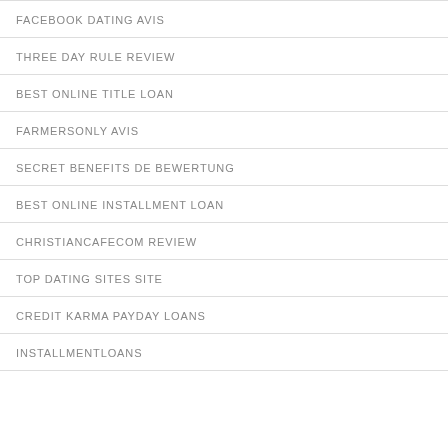FACEBOOK DATING AVIS
THREE DAY RULE REVIEW
BEST ONLINE TITLE LOAN
FARMERSONLY AVIS
SECRET BENEFITS DE BEWERTUNG
BEST ONLINE INSTALLMENT LOAN
CHRISTIANCAFECOM REVIEW
TOP DATING SITES SITE
CREDIT KARMA PAYDAY LOANS
INSTALLMENTLOANS